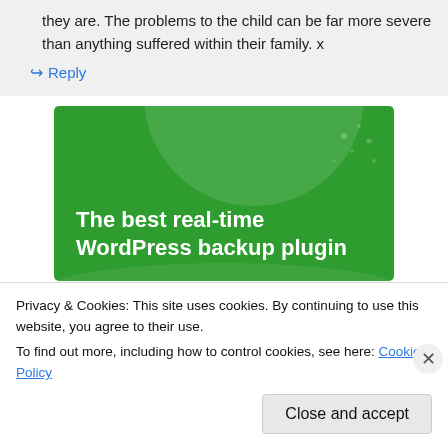they are. The problems to the child can be far more severe than anything suffered within their family. x
↳ Reply
[Figure (illustration): Green advertisement banner for a WordPress backup plugin. Text reads: 'The best real-time WordPress backup plugin' in bold white text on green background with decorative circular shapes.]
Privacy & Cookies: This site uses cookies. By continuing to use this website, you agree to their use.
To find out more, including how to control cookies, see here: Cookie Policy
Close and accept